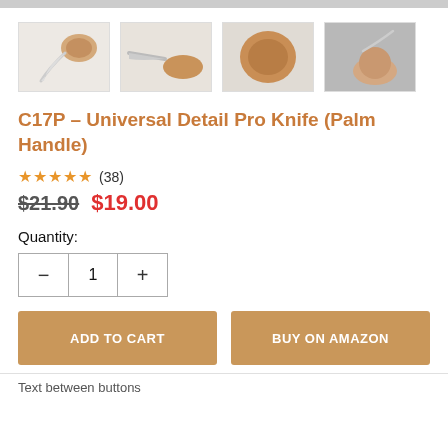[Figure (photo): Four thumbnail photos of a wood-handled carving knife (palm handle) from different angles]
C17P – Universal Detail Pro Knife (Palm Handle)
★★★★★ (38)
$21.90  $19.00
Quantity:
− 1 +
ADD TO CART    BUY ON AMAZON
Text between buttons